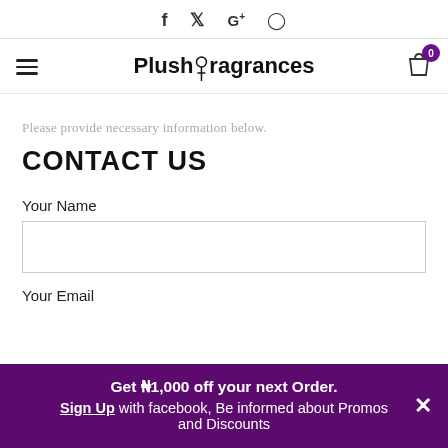f  ✦  G+  ○ (social media icons)
PlushFragrances — navigation bar with hamburger menu and cart (0 items)
Please provide necessary information below.
CONTACT US
Your Name
Your Email
Get ₦1,000 off your next Order. Sign Up with facebook, Be informed about Promos and Discounts